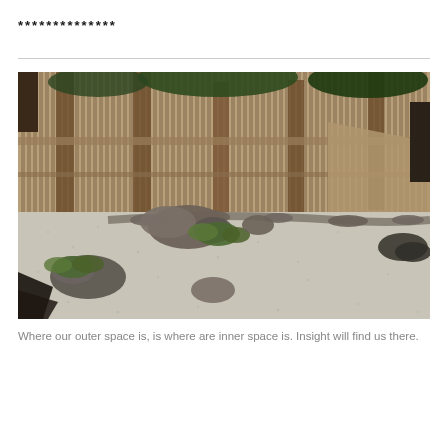**************
[Figure (photo): A Japanese Zen rock garden (karesansui) featuring white/grey gravel raked in patterns, with several large stones and small patches of low green plants arranged throughout. The garden is enclosed by a tall bamboo fence with wooden support posts, and has a curved low stone border dividing sections. Trees are visible above the fence. Dark structures are partially visible at lower left and right corners.]
Where our outer space is, is where are inner space is. Insight will find us there.